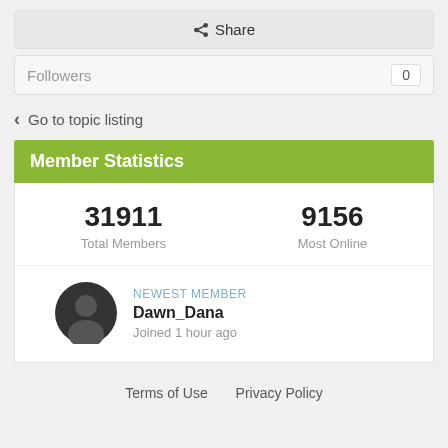Share
Followers 0
Go to topic listing
Member Statistics
| Total Members | Most Online |
| --- | --- |
| 31911 | 9156 |
NEWEST MEMBER
Dawn_Dana
Joined 1 hour ago
Terms of Use   Privacy Policy